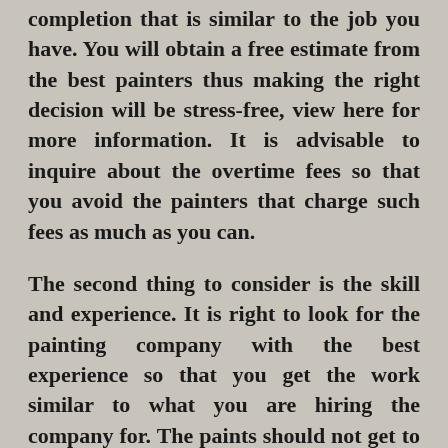completion that is similar to the job you have. You will obtain a free estimate from the best painters thus making the right decision will be stress-free, view here for more information. It is advisable to inquire about the overtime fees so that you avoid the painters that charge such fees as much as you can.
The second thing to consider is the skill and experience. It is right to look for the painting company with the best experience so that you get the work similar to what you are hiring the company for. The paints should not get to the windowsills or floor because this mistake can be disastrous. There are many reviews on the website that